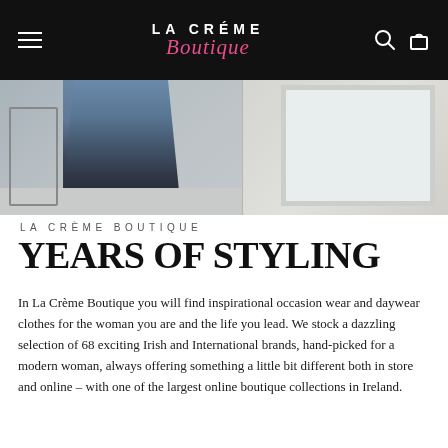LA CRÈME Boutique — navigation header with hamburger menu, logo, search and bag icons
[Figure (photo): Storefront or boutique interior photo showing a figure in a long blue/grey coat with dark trousers and shoes, beside a window display area. Split composition with neutral tones.]
LA CRÈME BOUTIQUE
YEARS OF STYLING
In La Crème Boutique you will find inspirational occasion wear and daywear clothes for the woman you are and the life you lead. We stock a dazzling selection of 68 exciting Irish and International brands, hand-picked for a modern woman, always offering something a little bit different both in store and online – with one of the largest online boutique collections in Ireland.